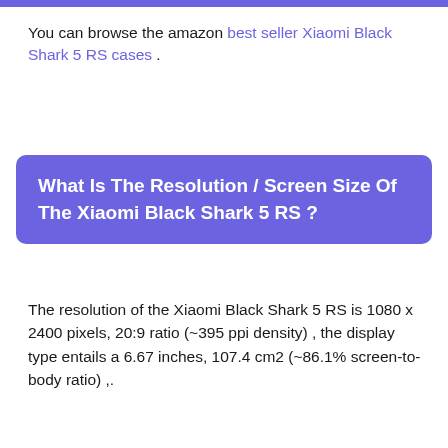You can browse the amazon best seller Xiaomi Black Shark 5 RS cases .
What Is The Resolution / Screen Size Of The Xiaomi Black Shark 5 RS ?
The resolution of the Xiaomi Black Shark 5 RS is 1080 x 2400 pixels, 20:9 ratio (~395 ppi density) , the display type entails a 6.67 inches, 107.4 cm2 (~86.1% screen-to-body ratio) ,.